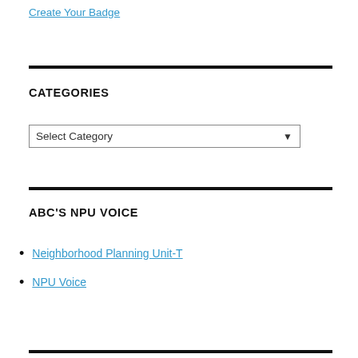Create Your Badge
CATEGORIES
Select Category
ABC'S NPU VOICE
Neighborhood Planning Unit-T
NPU Voice